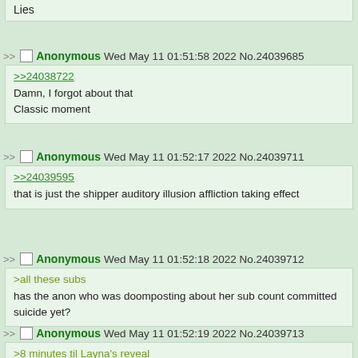Lies
Anonymous Wed May 11 01:51:58 2022 No.24039685
>>24038722
Damn, I forgot about that
Classic moment
Anonymous Wed May 11 01:52:17 2022 No.24039711
>>24039595
that is just the shipper auditory illusion affliction taking effect
Anonymous Wed May 11 01:52:18 2022 No.24039712
>all these subs
has the anon who was doomposting about her sub count committed suicide yet?
Anonymous Wed May 11 01:52:19 2022 No.24039713
>8 minutes til Layna's reveal
>Froot live